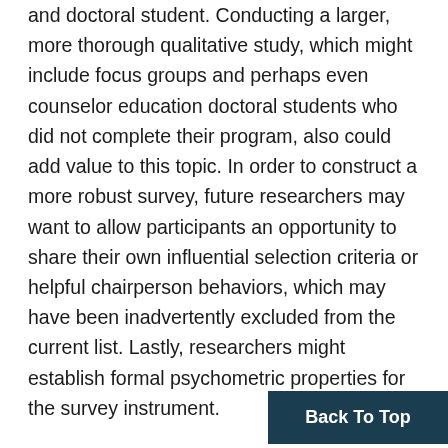and doctoral student. Conducting a larger, more thorough qualitative study, which might include focus groups and perhaps even counselor education doctoral students who did not complete their program, also could add value to this topic. In order to construct a more robust survey, future researchers may want to allow participants an opportunity to share their own influential selection criteria or helpful chairperson behaviors, which may have been inadvertently excluded from the current list. Lastly, researchers might establish formal psychometric properties for the survey instrument.
Back To Top